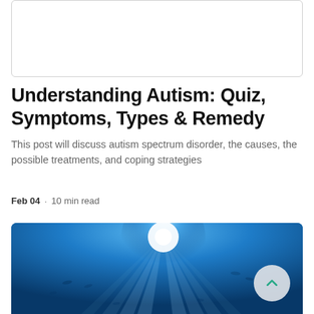[Figure (other): Placeholder box at top of page, white with grey border]
Understanding Autism: Quiz, Symptoms, Types & Remedy
This post will discuss autism spectrum disorder, the causes, the possible treatments, and coping strategies
Feb 04 · 10 min read
[Figure (photo): Underwater ocean photo looking up toward bright sunlight penetrating deep blue water, with fish silhouettes visible. A scroll-to-top button with an upward chevron is overlaid in the bottom right corner.]